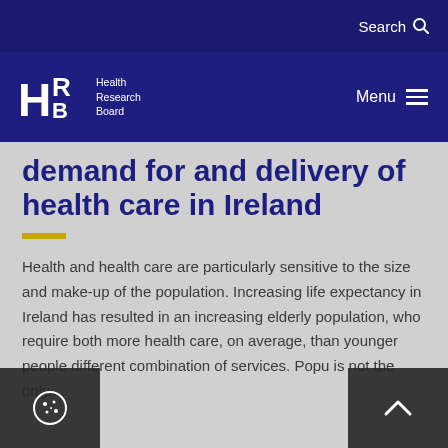Search
[Figure (logo): Health Research Board (HRB) logo with stylized H, R, B letters and text 'Health Research Board']
Menu
demand for and delivery of health care in Ireland
Health and health care are particularly sensitive to the size and make-up of the population. Increasing life expectancy in Ireland has resulted in an increasing elderly population, who require both more health care, on average, than younger people different combination of services. Popu is not the only...